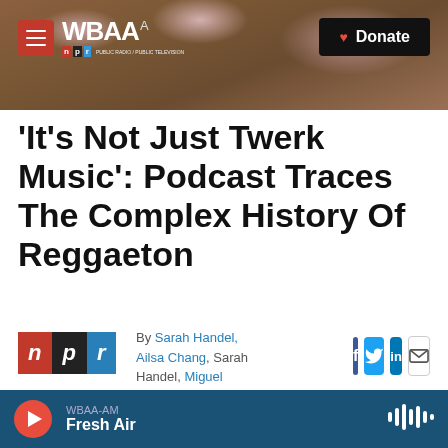WBAA | Donate
'It's Not Just Twerk Music': Podcast Traces The Complex History Of Reggaeton
By Sarah Handel, Ailsa Chang, Sarah Handel, Miguel Macias
Published August 20
WBAA-AM Fresh Air